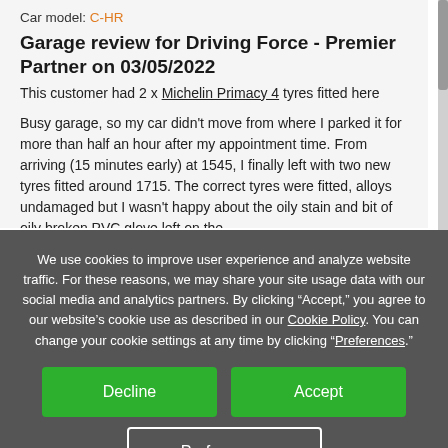Car model: C-HR
Garage review for Driving Force - Premier Partner on 03/05/2022
This customer had 2 x Michelin Primacy 4 tyres fitted here
Busy garage, so my car didn't move from where I parked it for more than half an hour after my appointment time. From arriving (15 minutes early) at 1545, I finally left with two new tyres fitted around 1715. The correct tyres were fitted, alloys undamaged but I wasn't happy about the oily stain and bit of oily broken PVC glove left on the
We use cookies to improve user experience and analyze website traffic. For these reasons, we may share your site usage data with our social media and analytics partners. By clicking “Accept,” you agree to our website’s cookie use as described in our Cookie Policy. You can change your cookie settings at any time by clicking “Preferences.”
Decline
Accept
Preferences